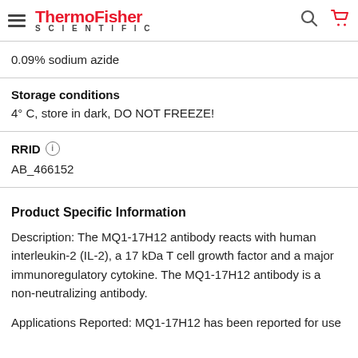ThermoFisher SCIENTIFIC
0.09% sodium azide
Storage conditions
4° C, store in dark, DO NOT FREEZE!
RRID
AB_466152
Product Specific Information
Description: The MQ1-17H12 antibody reacts with human interleukin-2 (IL-2), a 17 kDa T cell growth factor and a major immunoregulatory cytokine. The MQ1-17H12 antibody is a non-neutralizing antibody.
Applications Reported: MQ1-17H12 has been reported for use